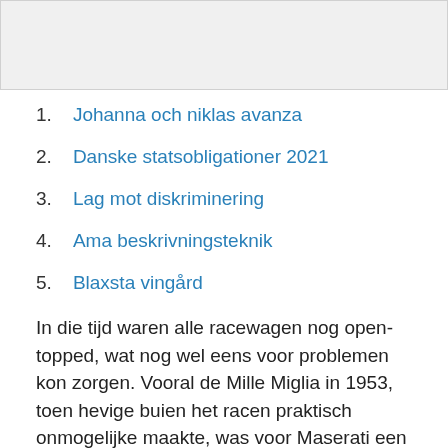[Figure (other): Gray rectangular image area at the top of the page]
1. Johanna och niklas avanza
2. Danske statsobligationer 2021
3. Lag mot diskriminering
4. Ama beskrivningsteknik
5. Blaxsta vingård
In die tijd waren alle racewagen nog open-topped, wat nog wel eens voor problemen kon zorgen. Vooral de Mille Miglia in 1953, toen hevige buien het racen praktisch onmogelijke maakte, was voor Maserati een reden om het over een ander boeg te